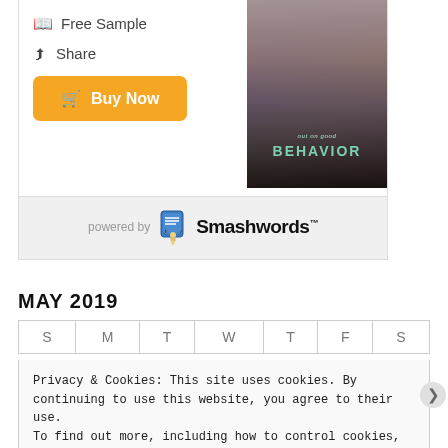[Figure (screenshot): Book widget showing 'Out on Good Behavior' book cover with a couple kissing, Free Sample and Share options, and a yellow Buy Now button]
[Figure (logo): Smashwords logo with finger-pointing icon and 'powered by Smashwords' text]
MAY 2019
| S | M | T | W | T | F | S |
| --- | --- | --- | --- | --- | --- | --- |
Privacy & Cookies: This site uses cookies. By continuing to use this website, you agree to their use.
To find out more, including how to control cookies, see here: Cookie Policy
Close and accept